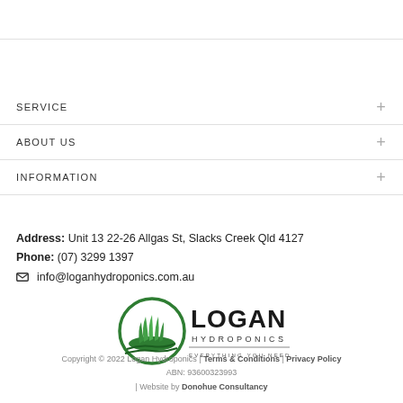SERVICE
ABOUT US
INFORMATION
Address:  Unit 13 22-26 Allgas St, Slacks Creek Qld 4127
Phone:  (07) 3299 1397
✉ info@loganhydroponics.com.au
[Figure (logo): Logan Hydroponics logo — green circular emblem with grass/plants, bold LOGAN text, HYDROPONICS in spaced caps, tagline EVERYTHING YOU NEED TO GET GROWING]
Copyright © 2022 Logan Hydroponics | Terms & Conditions | Privacy Policy
ABN: 93600323993
| Website by Donohue Consultancy